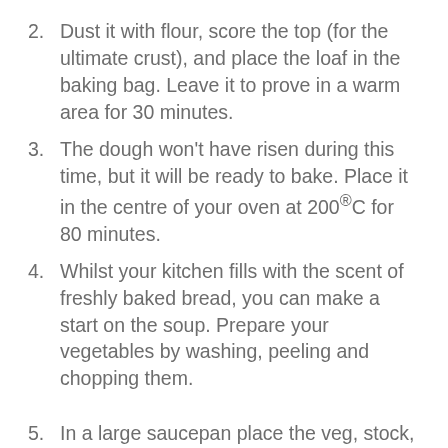2. Dust it with flour, score the top (for the ultimate crust), and place the loaf in the baking bag. Leave it to prove in a warm area for 30 minutes.
3. The dough won't have risen during this time, but it will be ready to bake. Place it in the centre of your oven at 200®C for 80 minutes.
4. Whilst your kitchen fills with the scent of freshly baked bread, you can make a start on the soup. Prepare your vegetables by washing, peeling and chopping them.
5. In a large saucepan place the veg, stock, salt and pepper and boil for about 10 minutes. Then on a low heat, allow to simmer for 20 minutes.